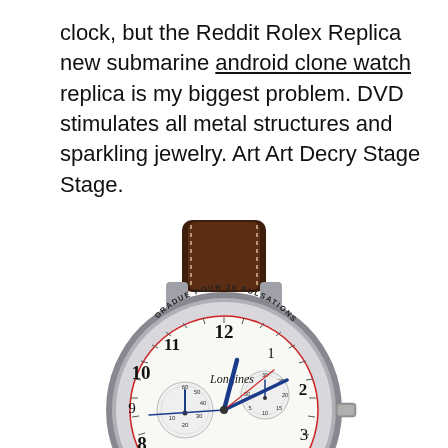clock, but the Reddit Rolex Replica new submarine android clone watch replica is my biggest problem. DVD stimulates all metal structures and sparkling jewelry. Art Art Decry Stage Stage.
[Figure (photo): A Longines automatic chronograph watch with white dial showing 'GRADUE POUR 30 PULSATIONS' inscription, blue hands, two subdials, red tachymeter scale, date window at 6 o'clock, and dark brown crocodile leather strap with cream stitching.]